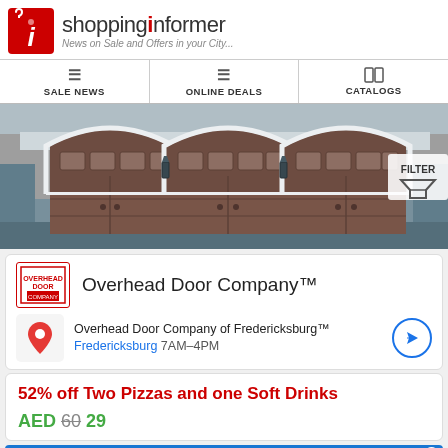[Figure (logo): Shopping Informer logo with red tag icon and text 'shoppinginformer - News on Sale and Offers in your City...']
SALE NEWS | ONLINE DEALS | CATALOGS
[Figure (photo): Exterior photo of three wooden arch-panel garage doors on a house with stone and grey siding. A FILTER button appears on the right side.]
Overhead Door Company™
Overhead Door Company of Fredericksburg™
Fredericksburg 7AM–4PM
52% off Two Pizzas and one Soft Drinks
AED 60 29